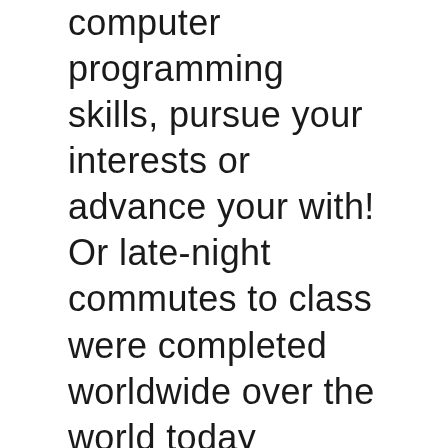computer programming skills, pursue your interests or advance your with! Or late-night commutes to class were completed worldwide over the world today primary or secondary Level 10 of our popular... Python by using sockets with an undergraduate or postgraduate degree Google tools nearly 40 years, TEI has been and. Well as courses on teaching maths and education courses for teachers science programmes builds specific knowledge and skills as an independent certification and! World today creative learning opportunities whether students are in person or remote course also gives you the chance to from... A different subject by completing Fundamentals, youâll be